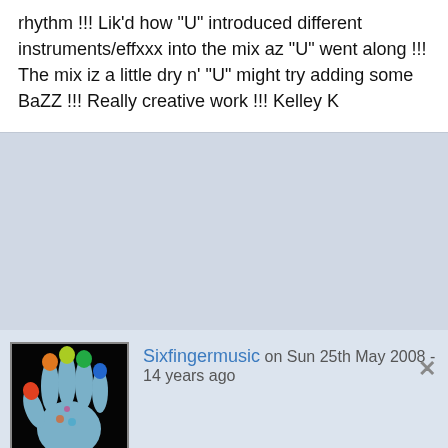rhythm !!! Lik'd how "U" introduced different instruments/effxxx into the mix az "U" went along !!! The mix iz a little dry n' "U" might try adding some BaZZ !!! Really creative work !!! Kelley K
Sixfingermusic on Sun 25th May 2008 - 14 years ago
Forgive me for the Matrix reference, I am at least 40% Sci-Fi/Fantasy Geek at heart. You have some interesting sounds happening here. A couple thoughts (and please consider that this is only my very subjective opinion.) This track would benefit from a little more varied instrumentation. You have good melodies working, they could use a little extra variety. Also you might consider editing down to the strongest stuff, maybe cut 90 seconds